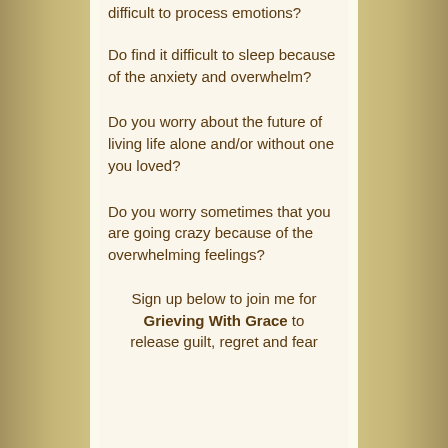difficult to process emotions?
Do find it difficult to sleep because of the anxiety and overwhelm?
Do you worry about the future of living life alone and/or without one you loved?
Do you worry sometimes that you are going crazy because of the overwhelming feelings?
Sign up below to join me for Grieving With Grace to release guilt, regret and fear